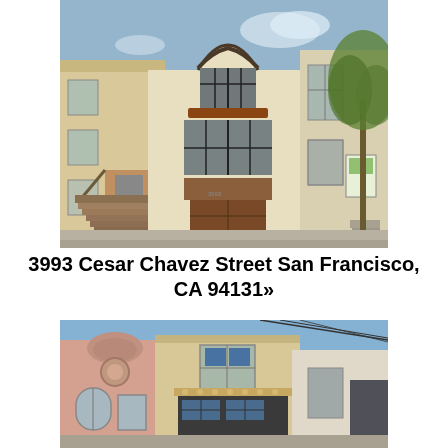[Figure (photo): Exterior photo of a Spanish-style multi-story home at 3993 Cesar Chavez Street, San Francisco, CA. The house features cream/beige stucco walls, dark-trimmed multi-pane windows, a large wooden garage door, a tiled roof, and neighboring houses visible on either side. A tree is visible on the right side.]
3993 Cesar Chavez Street San Francisco, CA 94131»
[Figure (photo): Exterior photo of a row of houses in San Francisco. From left to right: a pink Mediterranean-style building with arched windows, a beige stucco building with a large garage door and solar panels, and a white/cream building. Blue sky is visible above.]